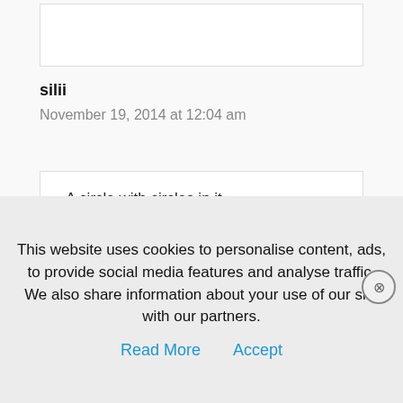[Figure (screenshot): Top portion of a comment box input area, empty, with light border]
silii
November 19, 2014 at 12:04 am
A circle with circles in it
Like a sniper wants to shot.. actions.
This website uses cookies to personalise content, ads, to provide social media features and analyse traffic. We also share information about your use of our site with our partners.
Read More    Accept